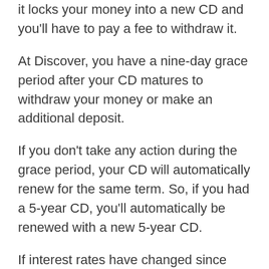it locks your money into a new CD and you'll have to pay a fee to withdraw it.
At Discover, you have a nine-day grace period after your CD matures to withdraw your money or make an additional deposit.
If you don't take any action during the grace period, your CD will automatically renew for the same term. So, if you had a 5-year CD, you'll automatically be renewed with a new 5-year CD.
If interest rates have changed since your first opened the CD, your new CD will have the new rate, whether it is higher or lower.